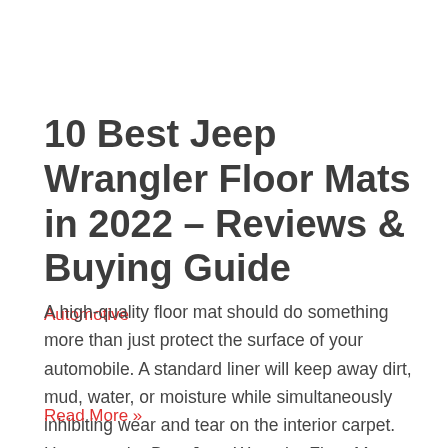10 Best Jeep Wrangler Floor Mats in 2022 – Reviews & Buying Guide
Automotive
A high-quality floor mat should do something more than just protect the surface of your automobile. A standard liner will keep away dirt, mud, water, or moisture while simultaneously inhibiting wear and tear on the interior carpet. However, the Best Jeep Wrangler Floor Mats should not only pride in these factors but also tone your …
Read More »